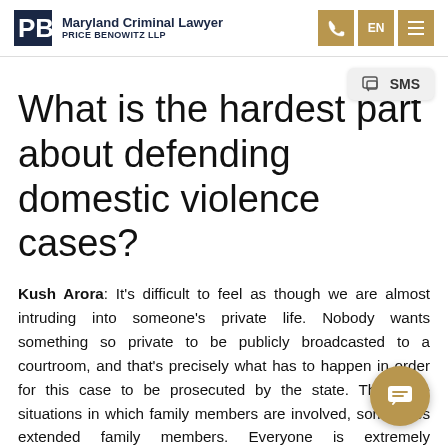Maryland Criminal Lawyer — Price Benowitz LLP
What is the hardest part about defending domestic violence cases?
Kush Arora: It's difficult to feel as though we are almost intruding into someone's private life. Nobody wants something so private to be publicly broadcasted to a courtroom, and that's precisely what has to happen in order for this case to be prosecuted by the state. There are situations in which family members are involved, sometimes extended family members. Everyone is extremely embarrassed by what has happened and wants